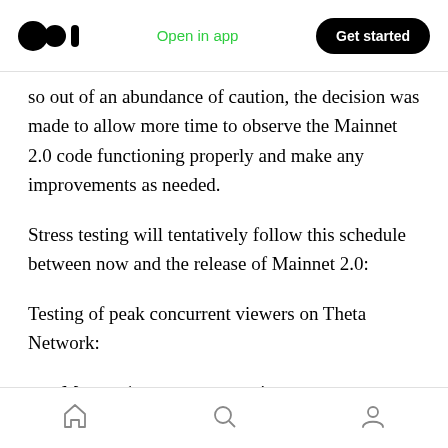Medium logo | Open in app | Get started
so out of an abundance of caution, the decision was made to allow more time to observe the Mainnet 2.0 code functioning properly and make any improvements as needed.
Stress testing will tentatively follow this schedule between now and the release of Mainnet 2.0:
Testing of peak concurrent viewers on Theta Network:
May — 1m+ concurrent viewers
Testing of number of Guardian Nodes
Home | Search | Profile